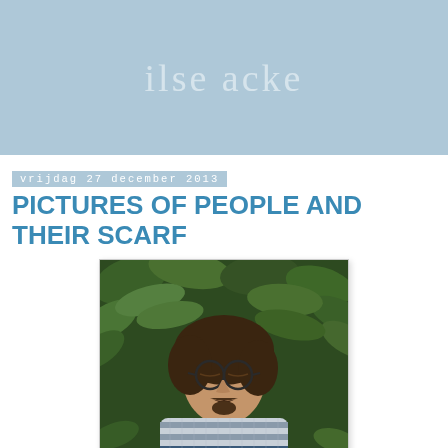ilse acke
vrijdag 27 december 2013
PICTURES OF PEOPLE AND THEIR SCARF
[Figure (photo): A man with glasses and a mustache lying in green leaves, wearing a hand-knit striped scarf in grey, white, and blue tones.]